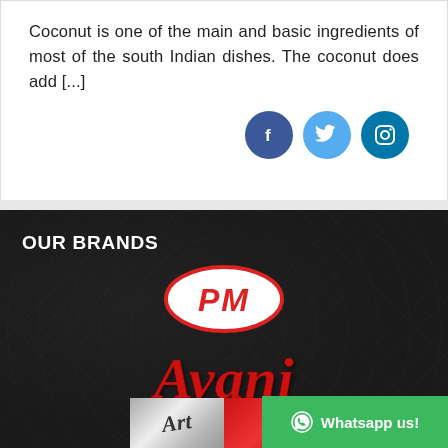Coconut is one of the main and basic ingredients of most of the south Indian dishes. The coconut does add [...]
[Figure (other): Three social media icons: Facebook (dark blue circle with 'f'), Twitter (light blue circle with bird icon), Instagram (teal circle with camera icon)]
OUR BRANDS
[Figure (logo): PM logo inside a red oval outline on white background]
[Figure (logo): Avani brand name in large red italic script lettering on dark background]
[Figure (logo): A brand logo strip with silver/grey left half and red right half, with italic script text]
[Figure (other): Whatsapp us! green button with WhatsApp icon]